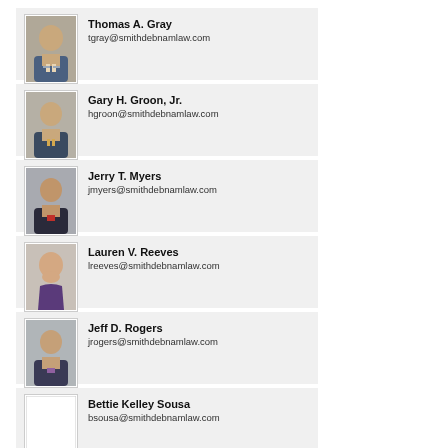[Figure (photo): Headshot photo of Thomas A. Gray, male professional in suit]
Thomas A. Gray
tgray@smithdebnamlaw.com
[Figure (photo): Headshot photo of Gary H. Groon Jr., male professional in suit]
Gary H. Groon, Jr.
hgroon@smithdebnamlaw.com
[Figure (photo): Headshot photo of Jerry T. Myers, male professional in suit]
Jerry T. Myers
jmyers@smithdebnamlaw.com
[Figure (photo): Headshot photo of Lauren V. Reeves, female professional]
Lauren V. Reeves
lreeves@smithdebnamlaw.com
[Figure (photo): Headshot photo of Jeff D. Rogers, male professional in suit]
Jeff D. Rogers
jrogers@smithdebnamlaw.com
[Figure (photo): Placeholder photo (blank) for Bettie Kelley Sousa]
Bettie Kelley Sousa
bsousa@smithdebnamlaw.com
[Figure (photo): Partial placeholder photo at bottom of page]